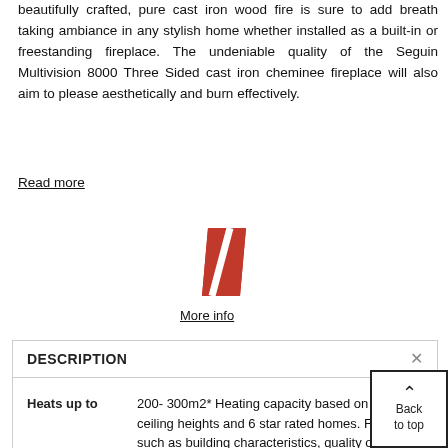beautifully crafted, pure cast iron wood fire is sure to add breath taking ambiance in any stylish home whether installed as a built-in or freestanding fireplace. The undeniable quality of the Seguin Multivision 8000 Three Sided cast iron cheminee fireplace will also aim to please aesthetically and burn effectively.
Read more
[Figure (logo): Red diagonal parallelogram logo mark]
More info
| DESCRIPTION | × |
| --- | --- |
| Heats up to | 200- 300m2* Heating capacity based on 2.4m ceiling heights and 6 star rated homes. Facto such as building characteristics, quality of |